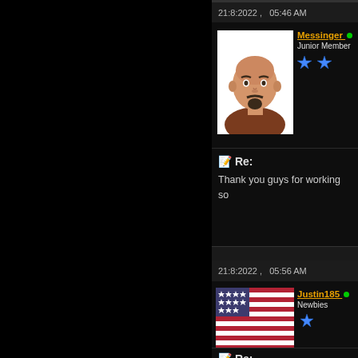21:8:2022 ,   05:46 AM
[Figure (illustration): Forum avatar: cartoon illustration of a bald man with a goatee wearing a brown jacket]
Messinger • Junior Member ★★
📋 Re:
Thank you guys for working so
21:8:2022 ,   05:56 AM
[Figure (photo): Forum avatar: photo of an American flag with stars and stripes]
Justin185 • Newbies ★
📋 Re: